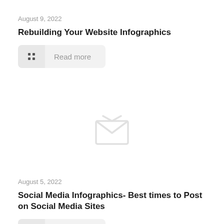August 9, 2022
Rebuilding Your Website Infographics
Read more
[Figure (illustration): Broken or placeholder image icon — a grey envelope/image placeholder symbol in the center of the page]
August 5, 2022
Social Media Infographics- Best times to Post on Social Media Sites
Read more